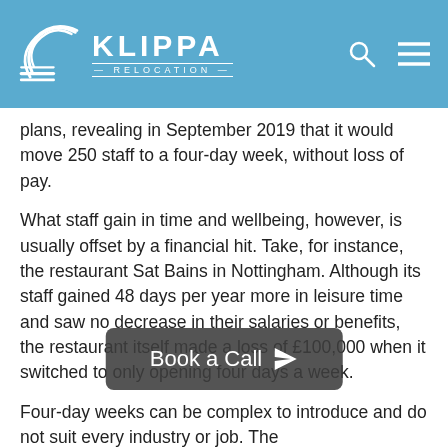KLIPPA RELOCATION
plans, revealing in September 2019 that it would move 250 staff to a four-day week, without loss of pay.
What staff gain in time and wellbeing, however, is usually offset by a financial hit. Take, for instance, the restaurant Sat Bains in Nottingham. Although its staff gained 48 days per year more in leisure time and saw no decrease in their salaries or benefits, the restaurant itself made a loss of £100,000 when it switched to only opening four days a week.
Four-day weeks can be complex to introduce and do not suit every industry or job. The
[Figure (other): Book a Call button with paper plane icon overlay]